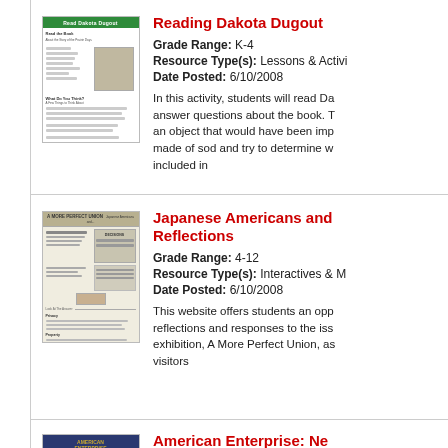[Figure (illustration): Thumbnail of Reading Dakota Dugout worksheet with green header and black-and-white illustration]
Reading Dakota Dugout
Grade Range: K-4
Resource Type(s): Lessons & Activities
Date Posted: 6/10/2008
In this activity, students will read Da... answer questions about the book. T... an object that would have been imp... made of sod and try to determine w... included in
[Figure (screenshot): Thumbnail of Japanese Americans and Reflections interactive website screenshot]
Japanese Americans and Reflections
Grade Range: 4-12
Resource Type(s): Interactives & M...
Date Posted: 6/10/2008
This website offers students an opp... reflections and responses to the iss... exhibition, A More Perfect Union, as... visitors
[Figure (illustration): Thumbnail of American Enterprise resource with dark blue background]
American Enterprise: Ne...